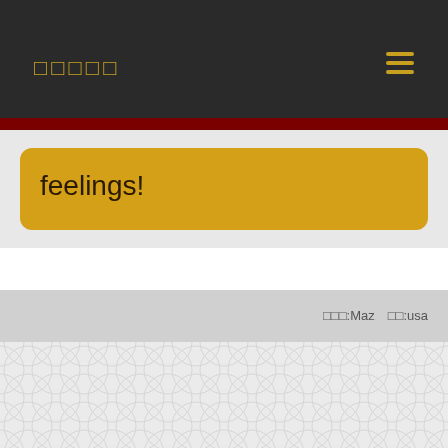□□□□□
feelings!
□□□:Maz   □□:usa
[Figure (illustration): Decorative geometric tile pattern background in light gray]